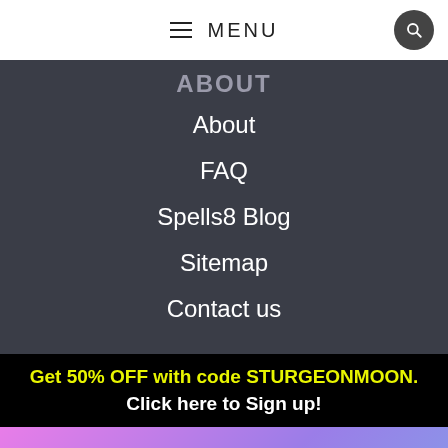MENU
ABOUT
About
FAQ
Spells8 Blog
Sitemap
Contact us
Get 50% OFF with code STURGEONMOON. Click here to Sign up!
Never miss a Sabbat!
Enter your email & stay tuned!
SUBSCRIBE